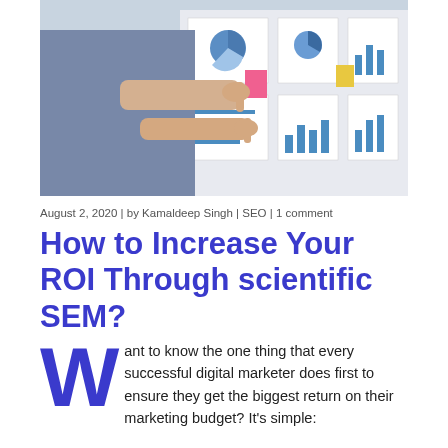[Figure (photo): Person in suit pointing at business analytics charts and graphs including pie charts and bar charts mounted on a wall or board.]
August 2, 2020 | by Kamaldeep Singh | SEO | 1 comment
How to Increase Your ROI Through scientific SEM?
Want to know the one thing that every successful digital marketer does first to ensure they get the biggest return on their marketing budget? It's simple: